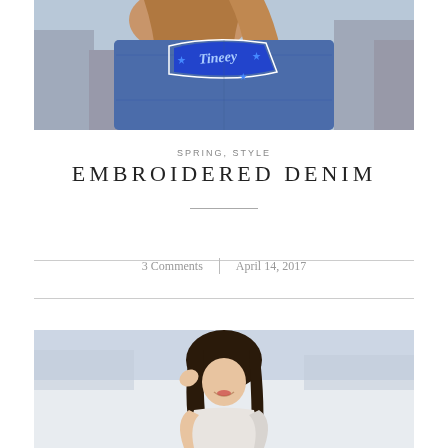[Figure (photo): Close-up of a person wearing a blue denim jacket with an embroidered patch reading 'Tineey' with stars, shown from behind. Black and white background with blue-toned jacket.]
SPRING, STYLE
EMBROIDERED DENIM
3 Comments  |  April 14, 2017
[Figure (photo): A young woman with long dark hair standing outdoors in a winter setting, smiling downward, wearing a light-colored outfit.]